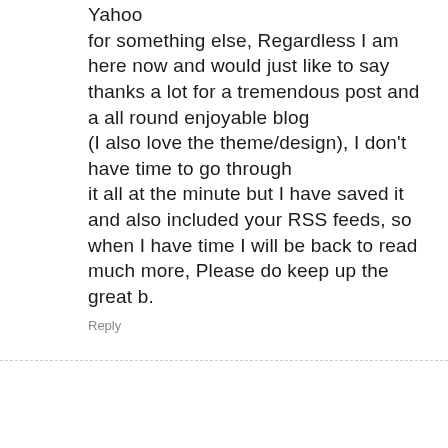Yahoo for something else, Regardless I am here now and would just like to say thanks a lot for a tremendous post and a all round enjoyable blog (I also love the theme/design), I don't have time to go through it all at the minute but I have saved it and also included your RSS feeds, so when I have time I will be back to read much more, Please do keep up the great b.
Reply